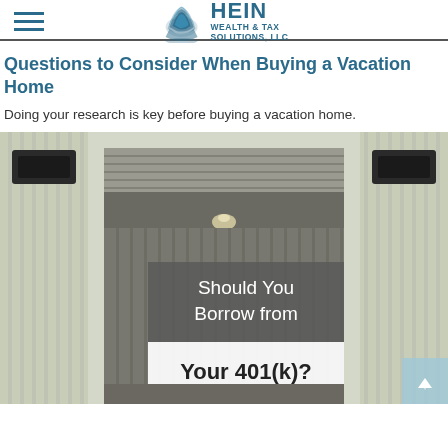HEIN WEALTH & TAX SOLUTIONS, LLC
Questions to Consider When Buying a Vacation Home
Doing your research is key before buying a vacation home.
[Figure (photo): Storage unit facility with open roll-up door revealing interior, overlaid with text 'Should You Borrow from Your 401(k)?']